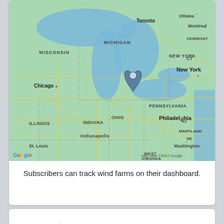[Figure (map): Google Maps screenshot showing the Great Lakes region of North America, including Wisconsin, Michigan, Illinois, Indiana, Ohio, Pennsylvania, New York, and surrounding states/provinces. A blue location pin is placed near Lake Erie south of Toronto. Map data ©2022 Google.]
Subscribers can track wind farms on their dashboard.
[Figure (screenshot): Navigation dashboard UI showing four icons: house icon labeled Project Details, chain-link icon labeled Supply Chain, boat icon labeled Vessels, envelope icon labeled Project Rates. Project Details tab is active with a blue underline.]